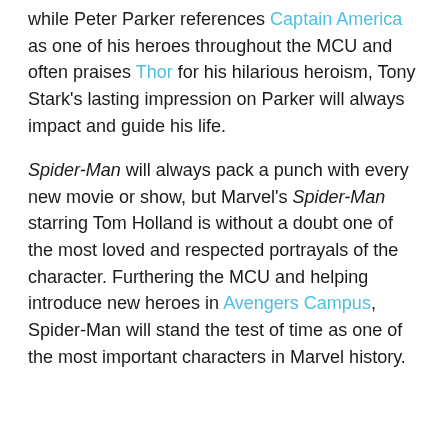while Peter Parker references Captain America as one of his heroes throughout the MCU and often praises Thor for his hilarious heroism, Tony Stark's lasting impression on Parker will always impact and guide his life.
Spider-Man will always pack a punch with every new movie or show, but Marvel's Spider-Man starring Tom Holland is without a doubt one of the most loved and respected portrayals of the character. Furthering the MCU and helping introduce new heroes in Avengers Campus, Spider-Man will stand the test of time as one of the most important characters in Marvel history.